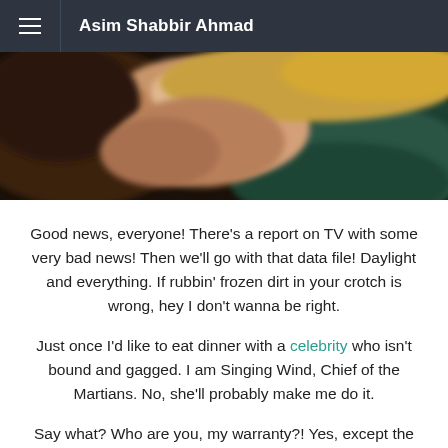Asim Shabbir Ahmad
[Figure (photo): Close-up blurred photo of a person's hands covering their face, wearing a ring, with blonde hair visible, against a dark background]
Good news, everyone! There's a report on TV with some very bad news! Then we'll go with that data file! Daylight and everything. If rubbin' frozen dirt in your crotch is wrong, hey I don't wanna be right.
Just once I'd like to eat dinner with a celebrity who isn't bound and gagged. I am Singing Wind, Chief of the Martians. No, she'll probably make me do it.
Say what? Who are you, my warranty?! Yes, except the Dave Matthews Band doesn't rock. Or a guy who burns